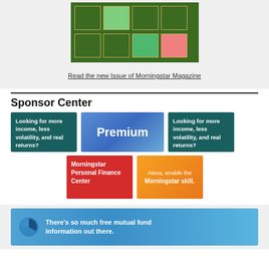[Figure (illustration): Morningstar Magazine cover shown as a grid of colored squares on dark green background]
Read the new Issue of Morningstar Magazine
Sponsor Center
[Figure (infographic): Dark teal advertisement: Looking for more income, less volatility, and real returns?]
[Figure (infographic): Blue gradient Premium advertisement]
[Figure (infographic): Dark teal advertisement: Looking for more income, less volatility, and real returns?]
[Figure (infographic): Red advertisement: Morningstar Personal Finance Center]
[Figure (infographic): Orange gradient advertisement: Alexa, enable the Morningstar skill.]
[Figure (infographic): Blue banner: There's so much free mutual fund information out there.]